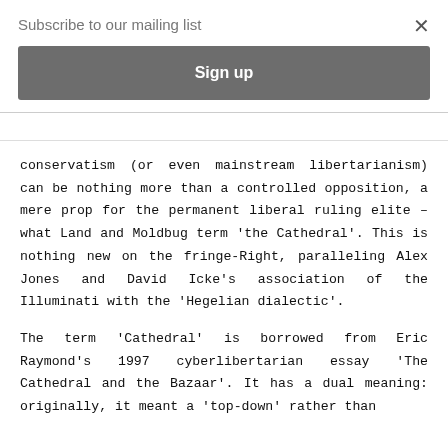Subscribe to our mailing list
Sign up
conservatism (or even mainstream libertarianism) can be nothing more than a controlled opposition, a mere prop for the permanent liberal ruling elite – what Land and Moldbug term 'the Cathedral'. This is nothing new on the fringe-Right, paralleling Alex Jones and David Icke's association of the Illuminati with the 'Hegelian dialectic'.
The term 'Cathedral' is borrowed from Eric Raymond's 1997 cyberlibertarian essay 'The Cathedral and the Bazaar'. It has a dual meaning: originally, it meant a 'top-down' rather than